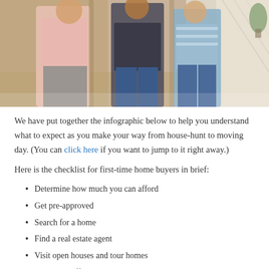[Figure (photo): Three people standing at a doorway — a realtor showing a couple (man in jeans and woman in striped top) a home entrance. Shot from behind/side, showing interior hallway and staircase.]
We have put together the infographic below to help you understand what to expect as you make your way from house-hunt to moving day. (You can click here if you want to jump to it right away.)
Here is the checklist for first-time home buyers in brief:
Determine how much you can afford
Get pre-approved
Search for a home
Find a real estate agent
Visit open houses and tour homes
Submit an offer